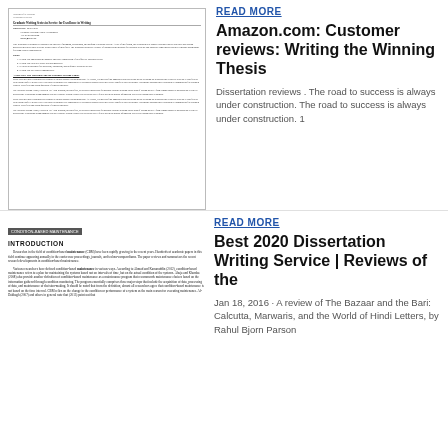[Figure (screenshot): Thumbnail of a document page titled 'Graduate Writing Series in Service for Excellence in Writing']
READ MORE
Amazon.com: Customer reviews: Writing the Winning Thesis
Dissertation reviews . The road to success is always under construction. The road to success is always under construction. 1
[Figure (screenshot): Thumbnail of an academic paper with citation bar and Introduction section on condition-based maintenance]
READ MORE
Best 2020 Dissertation Writing Service | Reviews of the
Jan 18, 2016 · A review of The Bazaar and the Bari: Calcutta, Marwaris, and the World of Hindi Letters, by Rahul Bjorn Parson